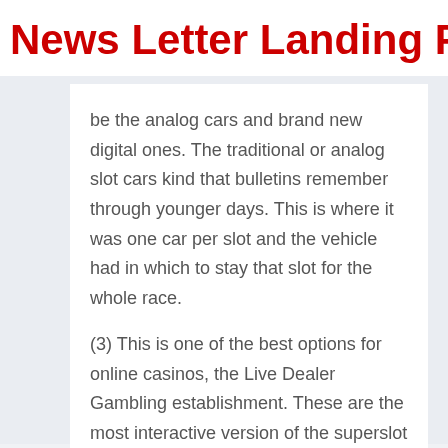News Letter Landing Page
be the analog cars and brand new digital ones. The traditional or analog slot cars kind that bulletins remember through younger days. This is where it was one car per slot and the vehicle had in which to stay that slot for the whole race.
(3) This is one of the best options for online casinos, the Live Dealer Gambling establishment. These are the most interactive version of the superslot slot online casino casino the place live dealer through videos feed from an actual land